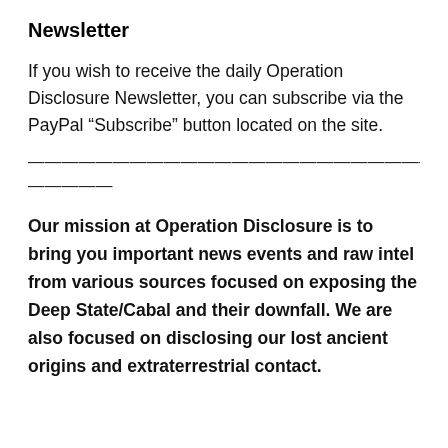Newsletter
If you wish to receive the daily Operation Disclosure Newsletter, you can subscribe via the PayPal “Subscribe” button located on the site.
——————————————————————————————————————————
——————
Our mission at Operation Disclosure is to bring you important news events and raw intel from various sources focused on exposing the Deep State/Cabal and their downfall. We are also focused on disclosing our lost ancient origins and extraterrestrial contact.